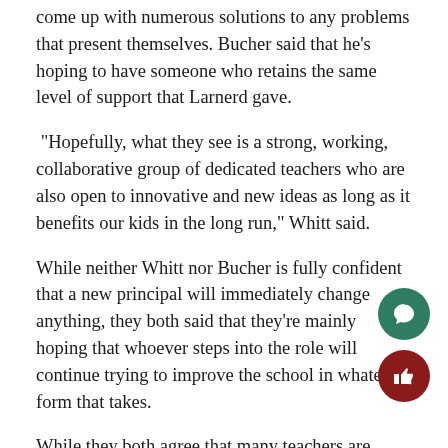come up with numerous solutions to any problems that present themselves. Bucher said that he's hoping to have someone who retains the same level of support that Larnerd gave.
“Hopefully, what they see is a strong, working, collaborative group of dedicated teachers who are also open to innovative and new ideas as long as it benefits our kids in the long run,” Whitt said.
While neither Whitt nor Bucher is fully confident that a new principal will immediately change anything, they both said that they’re mainly hoping that whoever steps into the role will continue trying to improve the school in whatever form that takes.
While they both agree that many teachers are excited for Larnerd’s new opportunities, Whitt said that she’ll mis sense of “play,” such as when he would dress up as Elvis